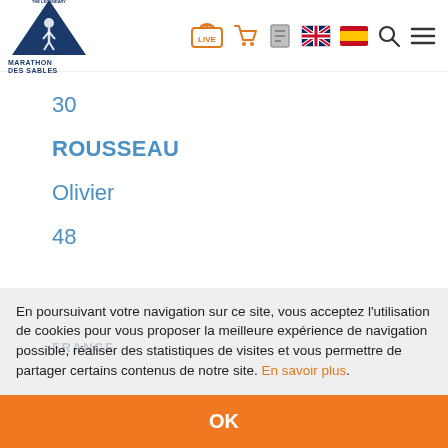[Figure (logo): Marathon des Sables logo - blue triangle with runner silhouette, text THE LEGENDARY MARATHON DES SABLES]
[Figure (screenshot): Navigation bar icons: LIVE broadcast icon (orange), shopping cart (orange), page/document icon (gray), UK flag, Spain flag, search icon, hamburger menu]
30
ROUSSEAU
Olivier
48
M
FRANCE
En poursuivant votre navigation sur ce site, vous acceptez l'utilisation de cookies pour vous proposer la meilleure expérience de navigation possible, réaliser des statistiques de visites et vous permettre de partager certains contenus de notre site. En savoir plus.
OK